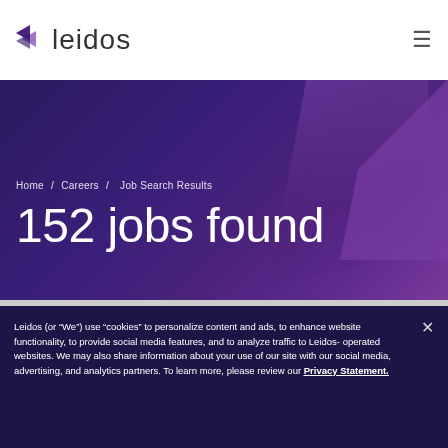leidos
Home / Careers / Job Search Results
152 jobs found
Leidos (or “We”) use “cookies” to personalize content and ads, to enhance website functionality, to provide social media features, and to analyze traffic to Leidos-operated websites. We may also share information about your use of our site with our social media, advertising, and analytics partners. To learn more, please review our Privacy Statement.